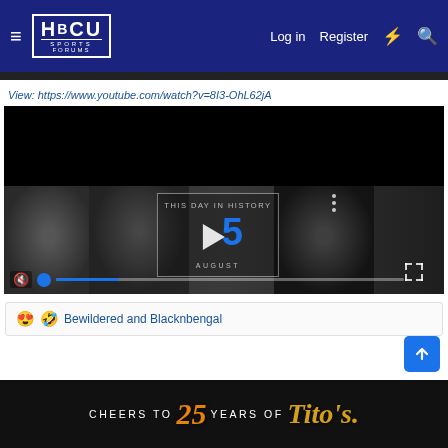HBCU SPORTS FORUMS — Log in | Register
View: https://www.youtube.com/watch?v=8I3-OhL62jA
[Figure (screenshot): Embedded YouTube video player showing 'This Day In History' with August 5 thumbnail, play button, muted audio icon, and playback progress bar.]
😍 🤣 Bewildered and Blacknbengal
[Figure (other): Advertisement banner: CHEERS TO 25 YEARS OF Tito's]